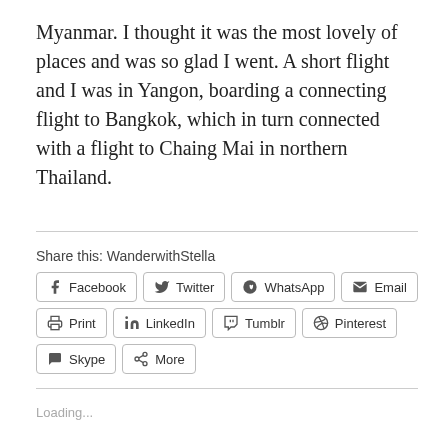Myanmar. I thought it was the most lovely of places and was so glad I went. A short flight and I was in Yangon, boarding a connecting flight to Bangkok, which in turn connected with a flight to Chaing Mai in northern Thailand.
Share this: WanderwithStella
Facebook  Twitter  WhatsApp  Email  Print  LinkedIn  Tumblr  Pinterest  Skype  More
Loading...